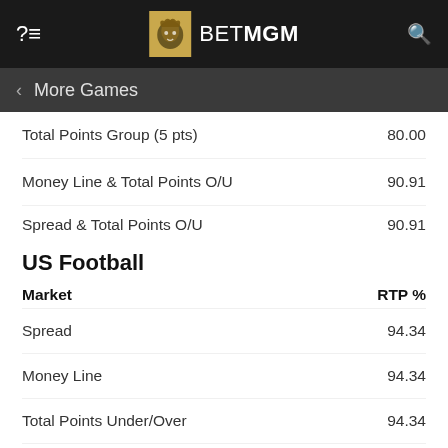BET MGM
More Games
Total Points Group (5 pts)   80.00
Money Line & Total Points O/U   90.91
Spread & Total Points O/U   90.91
US Football
| Market | RTP % |
| --- | --- |
| Spread | 94.34 |
| Money Line | 94.34 |
| Total Points Under/Over | 94.34 |
| Winning Margin | 83.33 |
| Total Points Group (5 pts) | 86.21 |